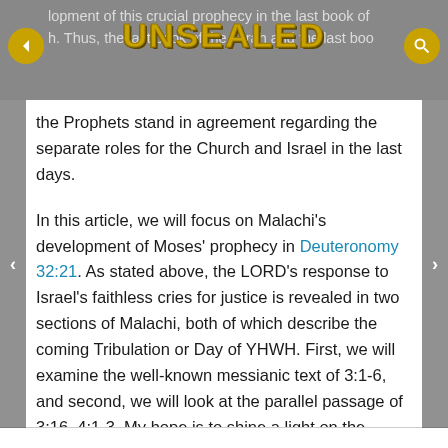lopment of this crucial prophecy in the last book of h. Thus, the last book of the Torah and the last book [of the Prophets stand in agreement regarding the separate roles for the Church and Israel in the last days.]
the Prophets stand in agreement regarding the separate roles for the Church and Israel in the last days.
In this article, we will focus on Malachi's development of Moses' prophecy in Deuteronomy 32:21. As stated above, the LORD's response to Israel's faithless cries for justice is revealed in two sections of Malachi, both of which describe the coming Tribulation or Day of YHWH. First, we will examine the well-known messianic text of 3:1-6, and second, we will look at the parallel passage of 3:16–4:1-3. My hope is to shine a light on the subtle hints of Christ and His Body in these eschatological texts.